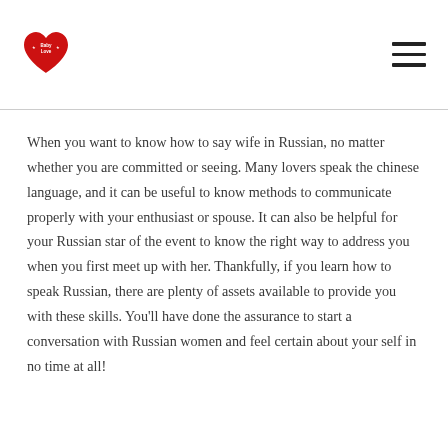[Baby Love logo] [hamburger menu]
When you want to know how to say wife in Russian, no matter whether you are committed or seeing. Many lovers speak the chinese language, and it can be useful to know methods to communicate properly with your enthusiast or spouse. It can also be helpful for your Russian star of the event to know the right way to address you when you first meet up with her. Thankfully, if you learn how to speak Russian, there are plenty of assets available to provide you with these skills. You'll have done the assurance to start a conversation with Russian women and feel certain about your self in no time at all!